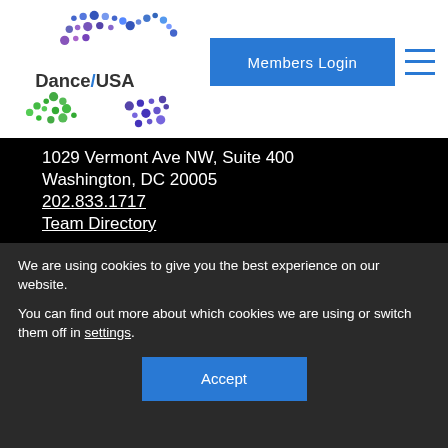[Figure (logo): Dance/USA logo with colorful dot pattern]
Members Login
1029 Vermont Ave NW, Suite 400
Washington, DC 20005
202.833.1717
Team Directory
Follow Us
Facebook
Twitter
We are using cookies to give you the best experience on our website.
You can find out more about which cookies we are using or switch them off in settings.
Accept